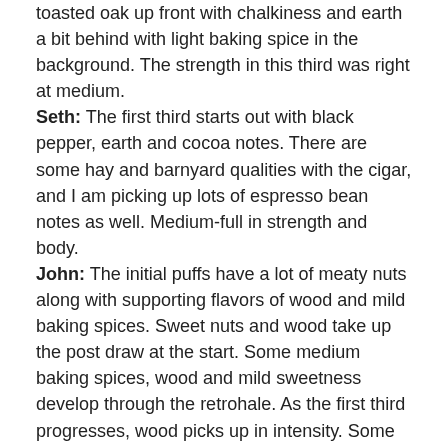toasted oak up front with chalkiness and earth a bit behind with light baking spice in the background. The strength in this third was right at medium.
Seth: The first third starts out with black pepper, earth and cocoa notes. There are some hay and barnyard qualities with the cigar, and I am picking up lots of espresso bean notes as well. Medium-full in strength and body.
John: The initial puffs have a lot of meaty nuts along with supporting flavors of wood and mild baking spices. Sweet nuts and wood take up the post draw at the start. Some medium baking spices, wood and mild sweetness develop through the retrohale. As the first third progresses, wood picks up in intensity. Some dryness joins the post draw moving towards the halfway point.
Jiunn: The first third's flavor profile tastes disorganized. Highly cedar and construction paper forward, combined with meatiness/game. Retrohaling gives abundant white pepper